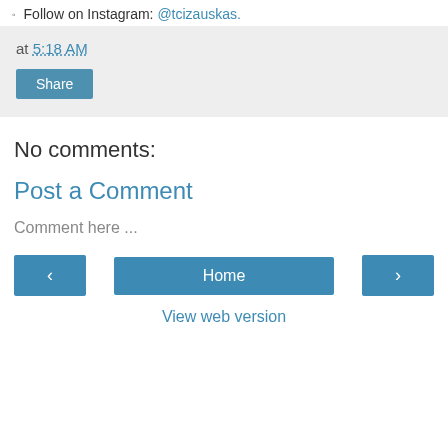Follow on Instagram: @tcizauskas.
at 5:18 AM
Share
No comments:
Post a Comment
Comment here ...
‹  Home  ›
View web version